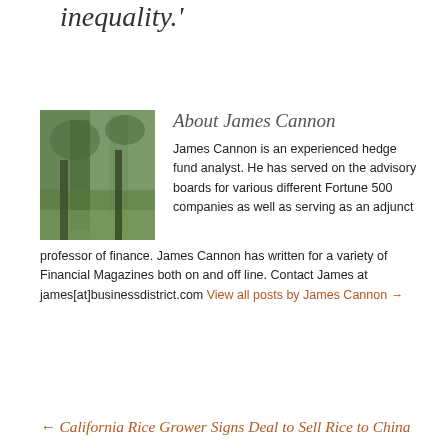inequality.'
About James Cannon
[Figure (photo): Headshot photo of James Cannon — outdoor forest/tree scene]
James Cannon is an experienced hedge fund analyst. He has served on the advisory boards for various different Fortune 500 companies as well as serving as an adjunct professor of finance. James Cannon has written for a variety of Financial Magazines both on and off line. Contact James at james[at]businessdistrict.com View all posts by James Cannon →
← California Rice Grower Signs Deal to Sell Rice to China